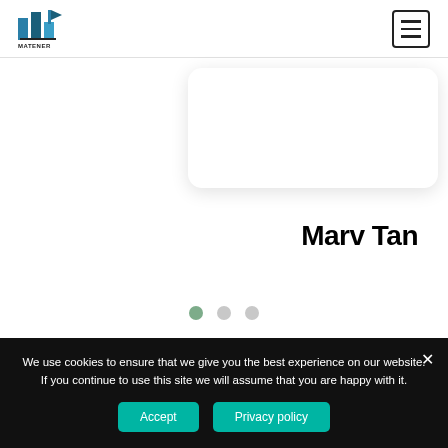[Figure (logo): MATENER company logo with stylized building/chart icon in blue and dark colors, text MATENER below]
[Figure (other): Hamburger menu button (three horizontal lines) with square border in top right corner]
[Figure (other): White rounded card/panel partially visible on right side below header]
Marv Tan
[Figure (other): Carousel indicator dots: three dots, first one active (green), second and third inactive (gray)]
We use cookies to ensure that we give you the best experience on our website. If you continue to use this site we will assume that you are happy with it.
Accept   Privacy policy